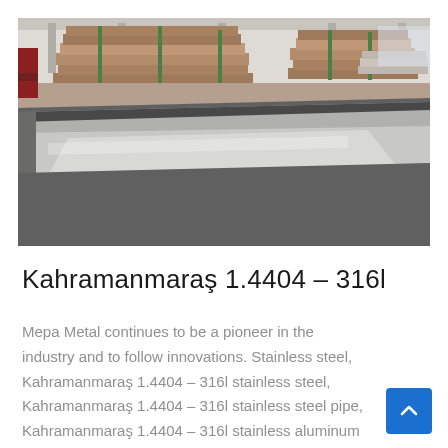[Figure (photo): Industrial warehouse interior showing stacked metal sheets wrapped in brown paper/packaging on pallets, with a large polished stainless steel sheet in the foreground reflecting the environment.]
Kahramanmaraş 1.4404 – 316l
Mepa Metal continues to be a pioneer in the industry and to follow innovations. Stainless steel, Kahramanmaraş 1.4404 – 316l stainless steel, Kahramanmaraş 1.4404 – 316l stainless steel pipe, Kahramanmaraş 1.4404 – 316l stainless aluminum